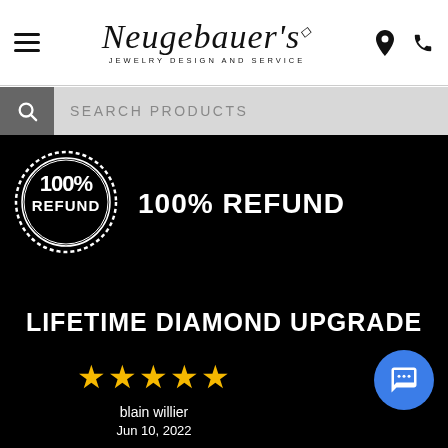Neugebauer's Jewelry Design and Service
SEARCH PRODUCTS
[Figure (logo): 100% Refund badge seal in white and black circle]
100% REFUND
LIFETIME DIAMOND UPGRADE
★★★★★
blain willier
Jun 10, 2022